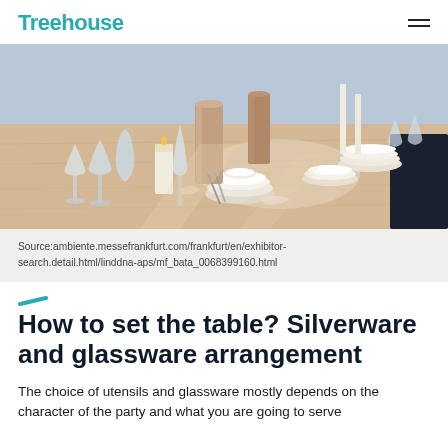Treehouse
[Figure (photo): A beautifully set dining table with crystal glassware, white plates, silverware, candles, and decorative elements arranged on a light wooden table surface.]
Source:ambiente.messefrankfurt.com/frankfurt/en/exhibitor-search.detail.html/linddna-aps/mf_bata_0068399160.html
How to set the table? Silverware and glassware arrangement
The choice of utensils and glassware mostly depends on the character of the party and what you are going to serve